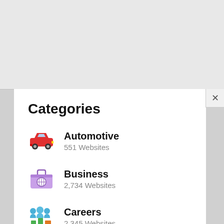Categories
Automotive – 551 Websites
Business – 2,734 Websites
Careers – 2,345 Websites
Education – 3,820 Websites
Entertainment